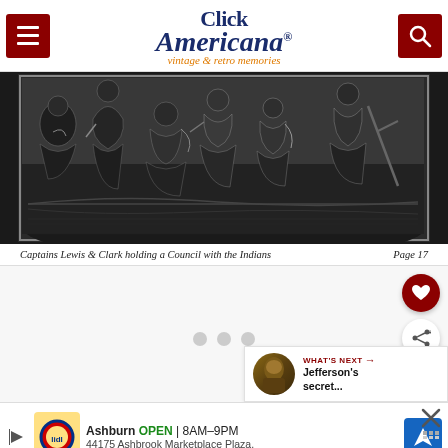Click Americana — vintage & retro memories
[Figure (illustration): Black and white historical engraving showing Captains Lewis and Clark holding a council with Native Americans. Several figures are depicted kneeling or sitting on the ground in a landscape setting.]
Captains Lewis & Clark holding a Council with the Indians   Page 17
[Figure (other): White content area with loading indicator (three grey dots) and social action buttons (heart/favorite in dark red, share button). A 'What's Next' panel shows a portrait thumbnail with text 'Jefferson's secret...']
[Figure (other): Advertisement bar: Lidl store ad showing Ashburn location, OPEN 8AM-9PM, 44175 Ashbrook Marketplace Plaza. Blue navigation arrow icon. Close button (X) on right side.]